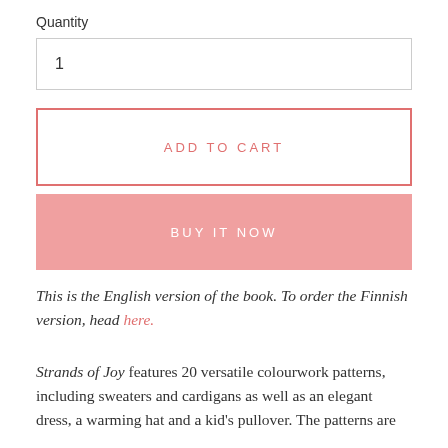Quantity
1
ADD TO CART
BUY IT NOW
This is the English version of the book. To order the Finnish version, head here.
Strands of Joy features 20 versatile colourwork patterns, including sweaters and cardigans as well as an elegant dress, a warming hat and a kid's pullover. The patterns are